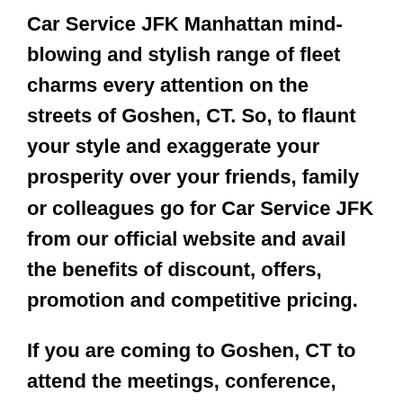Car Service JFK Manhattan mind-blowing and stylish range of fleet charms every attention on the streets of Goshen, CT. So, to flaunt your style and exaggerate your prosperity over your friends, family or colleagues go for Car Service JFK from our official website and avail the benefits of discount, offers, promotion and competitive pricing.
If you are coming to Goshen, CT to attend the meetings, conference, exhibition or business transactions, we at Airport Limousine harvest you the most astonishing and premium car service to boast your affluence and style. With JFK car service, you get the most generous, uniformed, and highly professional chauffeur service with convenience and private ride towards your